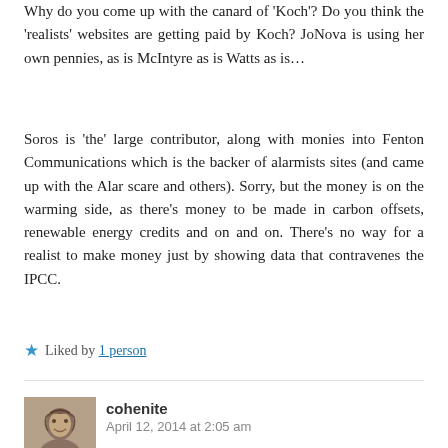Why do you come up with the canard of 'Koch'? Do you think the 'realists' websites are getting paid by Koch? JoNova is using her own pennies, as is McIntyre as is Watts as is…
Soros is 'the' large contributor, along with monies into Fenton Communications which is the backer of alarmists sites (and came up with the Alar scare and others). Sorry, but the money is on the warming side, as there's money to be made in carbon offsets, renewable energy credits and on and on. There's no way for a realist to make money just by showing data that contravenes the IPCC.
★ Liked by 1 person
[Figure (photo): Small avatar photo of user cohenite, grayscale portrait]
cohenite
April 12, 2014 at 2:05 am